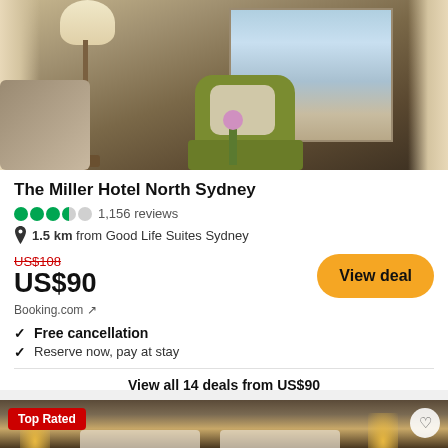[Figure (photo): Hotel room interior with green armchair, floor lamp, and window with city view]
The Miller Hotel North Sydney
3.5 out of 5 circles · 1,156 reviews
1.5 km from Good Life Suites Sydney
US$108 (strikethrough) US$90 · Booking.com
Free cancellation
Reserve now, pay at stay
View all 14 deals from US$90
[Figure (photo): Hotel room with bed visible, lamp lights, Top Rated badge overlay]